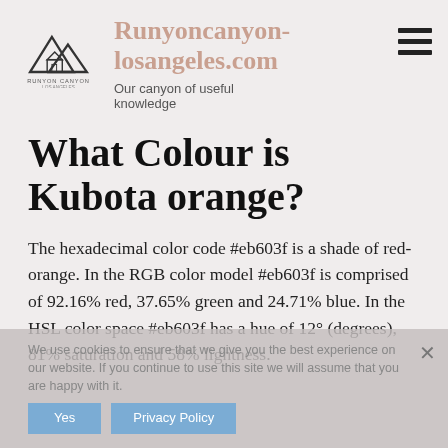Runyoncanyon-losangeles.com — Our canyon of useful knowledge
What Colour is Kubota orange?
The hexadecimal color code #eb603f is a shade of red-orange. In the RGB color model #eb603f is comprised of 92.16% red, 37.65% green and 24.71% blue. In the HSL color space #eb603f has a hue of 12° (degrees), 81% saturation and 58% lightness.
We use cookies to ensure that we give you the best experience on our website. If you continue to use this site we will assume that you are happy with it.